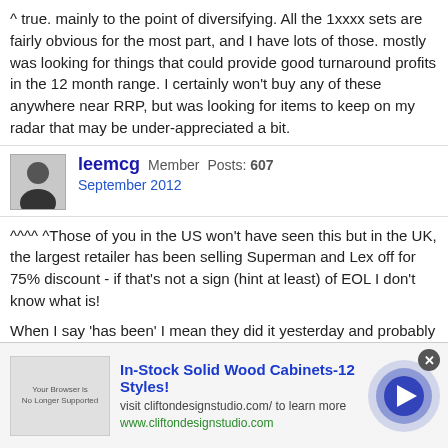^ true. mainly to the point of diversifying. All the 1xxxx sets are fairly obvious for the most part, and I have lots of those. mostly was looking for things that could provide good turnaround profits in the 12 month range. I certainly won't buy any of these anywhere near RRP, but was looking for items to keep on my radar that may be under-appreciated a bit.
leemcg Member Posts: 607 September 2012
^^^^ ^Those of you in the US won't have seen this but in the UK, the largest retailer has been selling Superman and Lex off for 75% discount - if that's not a sign (hint at least) of EOL I don't know what is!

When I say 'has been' I mean they did it yesterday and probably sold them all.

Lee
[Figure (screenshot): Advertisement banner: In-Stock Solid Wood Cabinets-12 Styles! with cliftondesignstudio.com URL and arrow button]